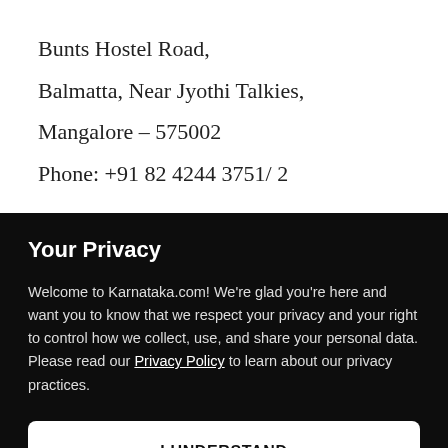Bunts Hostel Road,
Balmatta, Near Jyothi Talkies,
Mangalore – 575002
Phone: +91 82 4244 3751/ 2
Your Privacy
Welcome to Karnataka.com! We're glad you're here and want you to know that we respect your privacy and your right to control how we collect, use, and share your personal data. Please read our Privacy Policy to learn about our privacy practices.
I UNDERSTAND